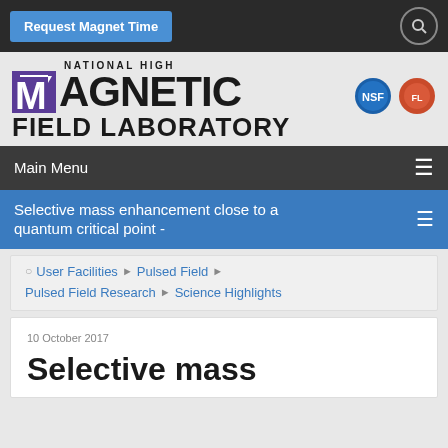Request Magnet Time
[Figure (logo): National High Magnetic Field Laboratory logo with purple M icon, NSF and Florida state logos]
Main Menu
Selective mass enhancement close to a quantum critical point -
User Facilities ▶ Pulsed Field ▶ Pulsed Field Research ▶ Science Highlights
10 October 2017
Selective mass